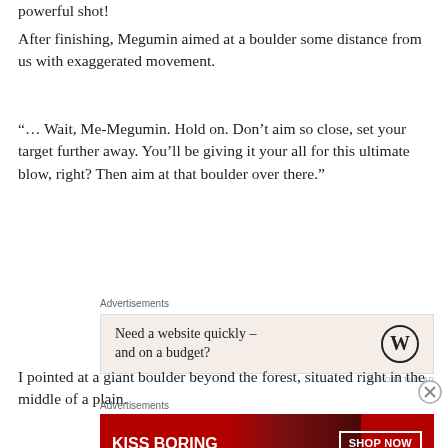powerful shot!
After finishing, Megumin aimed at a boulder some distance from us with exaggerated movement.
“… Wait, Me-Megumin. Hold on. Don’t aim so close, set your target further away. You’ll be giving it your all for this ultimate blow, right? Then aim at that boulder over there.”
Advertisements
[Figure (other): WordPress advertisement: Need a website quickly – and on a budget? with WordPress logo]
I pointed at a giant boulder beyond the forest, situated right in the middle of a plain.
Advertisements
[Figure (other): Macy's advertisement: KISS BORING LIPS GOODBYE with SHOP NOW button and Macy's star logo, red background with woman's face]